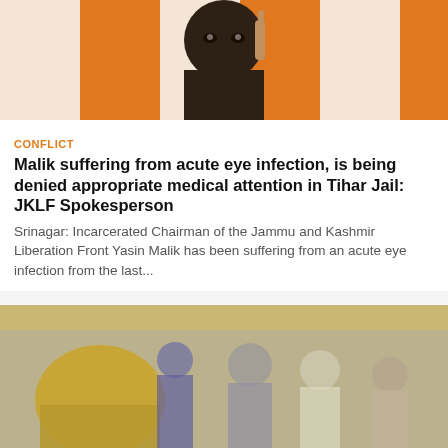[Figure (photo): Man with finger raised against orange and white striped background]
CONFLICT
Malik suffering from acute eye infection, is being denied appropriate medical attention in Tihar Jail: JKLF Spokesperson
Srinagar: Incarcerated Chairman of the Jammu and Kashmir Liberation Front Yasin Malik has been suffering from an acute eye infection from the last...
[Figure (photo): Group of people including police officers on a street, blurred scene]
CONFLICT
Leading a peaceful political movement no crime, says JKLF on NIA's 'absurd, concocted' chargesheet against Malik...